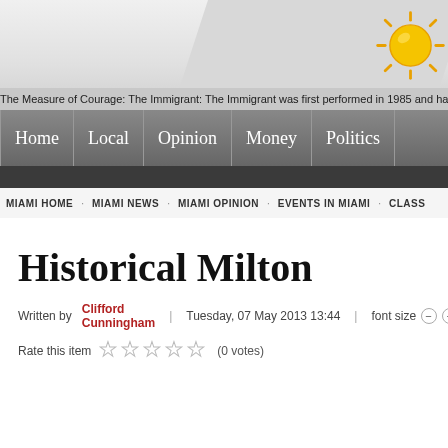[Figure (screenshot): Website header with gradient background, diagonal banner shape, and sun logo icon in top right]
The Measure of Courage: The Immigrant: The Immigrant was first performed in 1985 and has become
Home | Local | Opinion | Money | Politics
MIAMI HOME · MIAMI NEWS · MIAMI OPINION · EVENTS IN MIAMI · CLASS
Historical Milton
Written by Clifford Cunningham | Tuesday, 07 May 2013 13:44 | font size − + | Print
Rate this item ☆☆☆☆☆ (0 votes)